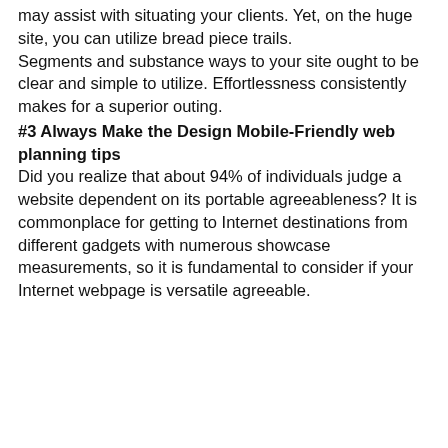may assist with situating your clients. Yet, on the huge site, you can utilize bread piece trails. Segments and substance ways to your site ought to be clear and simple to utilize. Effortlessness consistently makes for a superior outing.
#3 Always Make the Design Mobile-Friendly web planning tips
Did you realize that about 94% of individuals judge a website dependent on its portable agreeableness? It is commonplace for getting to Internet destinations from different gadgets with numerous showcase measurements, so it is fundamental to consider if your Internet webpage is versatile agreeable.